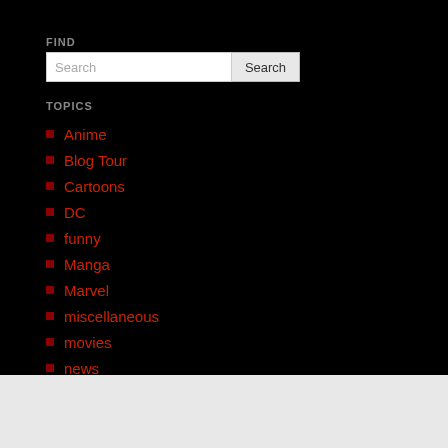FIND
Search [input box] Search [button]
TOPICS
Anime
Blog Tour
Cartoons
DC
funny
Manga
Marvel
miscellaneous
movies
news
Reblogged
reviews
The Caretaker
Uncategorized
Advertisements
[Figure (infographic): Advertisement banner: Launch your online course with WordPress — Learn More]